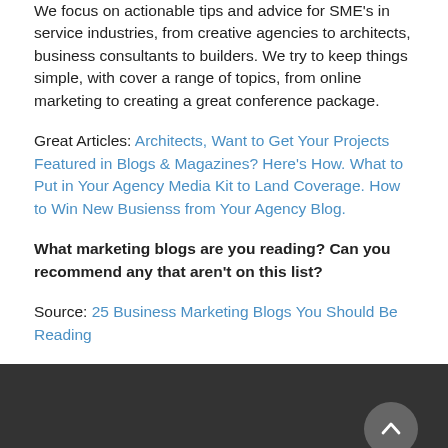We focus on actionable tips and advice for SME's in service industries, from creative agencies to architects, business consultants to builders. We try to keep things simple, with cover a range of topics, from online marketing to creating a great conference package.
Great Articles: Architects, Want to Get Your Projects Featured in Blogs & Magazines? Here's How. What to Put in Your Agency Media Kit to Land Coverage. How to Win New Busienss from Your Agency Blog.
What marketing blogs are you reading? Can you recommend any that aren't on this list?
Source: 25 Business Marketing Blogs You Should Be Reading
[Figure (logo): Dark footer section with a blue oval logo shape at the bottom center and a grey circular back-to-top arrow button on the right]